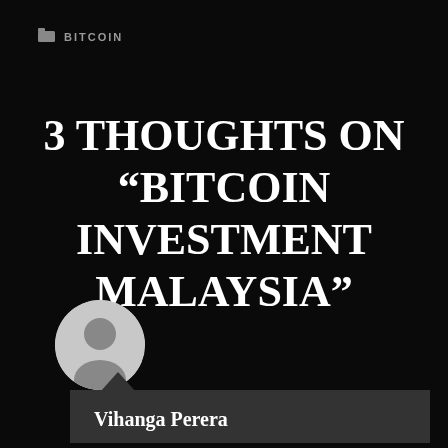BITCOIN
3 THOUGHTS ON “BITCOIN INVESTMENT MALAYSIA”
[Figure (illustration): Circular grey avatar placeholder icon with default user silhouette]
Vihanga Perera